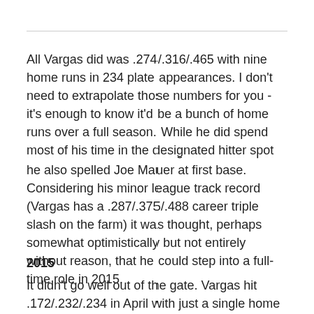All Vargas did was .274/.316/.465 with nine home runs in 234 plate appearances. I don't need to extrapolate those numbers for you - it's enough to know it'd be a bunch of home runs over a full season. While he did spend most of his time in the designated hitter spot he also spelled Joe Mauer at first base. Considering his minor league track record (Vargas has a .287/.375/.488 career triple slash on the farm) it was thought, perhaps somewhat optimistically but not entirely without reason, that he could step into a full-time role in 2015.
2015
It didn't go well out of the gate. Vargas hit .172/.232/.234 in April with just a single home run. He